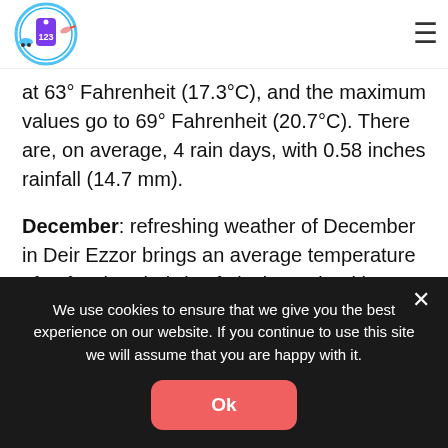[Logo] ☰
at 63° Fahrenheit (17.3°C), and the maximum values go to 69° Fahrenheit (20.7°C). There are, on average, 4 rain days, with 0.58 inches rainfall (14.7 mm).
December: refreshing weather of December in Deir Ezzor brings an average temperature of 47° Fahrenheit (8.6°C), determined by maximum temperatures situated around 57° Fahrenheit (14°C)
We use cookies to ensure that we give you the best experience on our website. If you continue to use this site we will assume that you are happy with it.